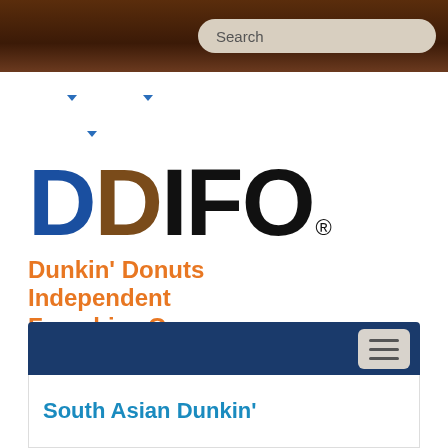[Figure (screenshot): DDIFO website screenshot showing brown top navigation bar with search box, navigation menu items with dropdown arrows, DDIFO logo in blue/brown/black, orange tagline text, dark blue content bar with menu button, and article title]
DDIFO®
Dunkin' Donuts Independent Franchise Owners
South Asian Dunkin'